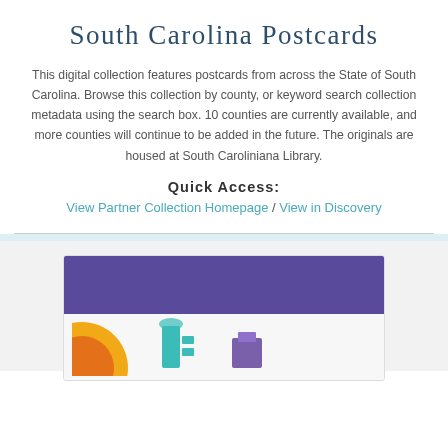South Carolina Postcards
This digital collection features postcards from across the State of South Carolina. Browse this collection by county, or keyword search collection metadata using the search box. 10 counties are currently available, and more counties will continue to be added in the future. The originals are housed at South Caroliniana Library.
Quick Access:
View Partner Collection Homepage / View in Discovery
[Figure (screenshot): Bottom portion of page showing a card with a purple header bar and colorful icons below it (orange circle, teal book/lamp shapes, purple shape) on a light background.]